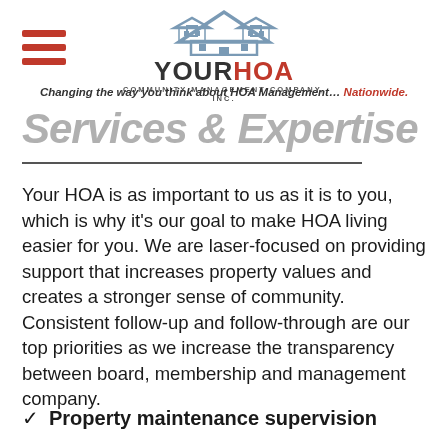YOUR HOA COMMUNITY MANAGEMENT COMPANY, INC. — Changing the way you think about HOA Management... Nationwide.
Services & Expertise
Your HOA is as important to us as it is to you, which is why it's our goal to make HOA living easier for you. We are laser-focused on providing support that increases property values and creates a stronger sense of community. Consistent follow-up and follow-through are our top priorities as we increase the transparency between board, membership and management company.
✓  Property maintenance supervision